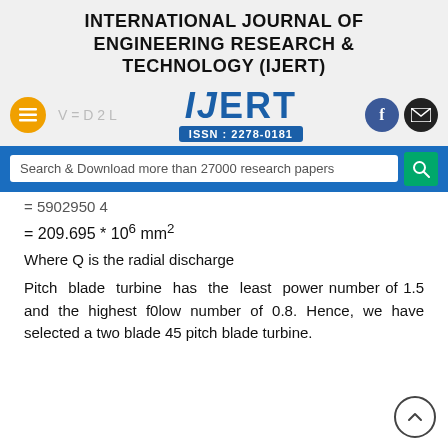INTERNATIONAL JOURNAL OF ENGINEERING RESEARCH & TECHNOLOGY (IJERT)
[Figure (logo): IJERT logo with ISSN: 2278-0181, menu button, social icons (Facebook, email), and faint formula V=D2L]
[Figure (other): Search bar: Search & Download more than 27000 research papers]
Where Q is the radial discharge
Pitch blade turbine has the least power number of 1.5 and the highest f0low number of 0.8. Hence, we have selected a two blade 45 pitch blade turbine.